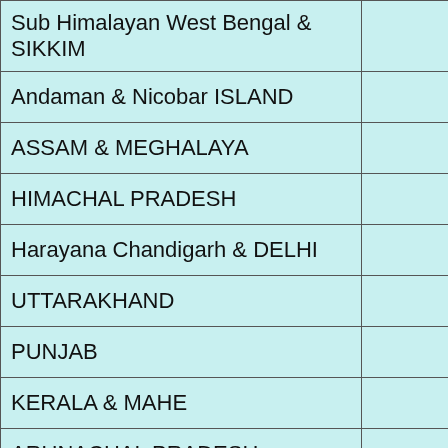| Region |  |
| --- | --- |
| Sub Himalayan West Bengal & SIKKIM |  |
| Andaman & Nicobar ISLAND |  |
| ASSAM & MEGHALAYA |  |
| HIMACHAL PRADESH |  |
| Harayana Chandigarh & DELHI |  |
| UTTARAKHAND |  |
| PUNJAB |  |
| KERALA & MAHE |  |
| ARUNACHAL PRADESH |  |
| DEFICIENT RAINFALL |  |
| Nagaland Manipur Mizoram Tripura |  |
| JHARKHAND |  |
| GANGETIC WEST BENGAL |  |
| BIHAR |  |
| EAST UTTAR PRADESH |  |